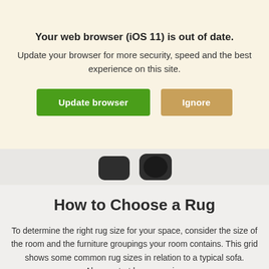Your web browser (iOS 11) is out of date.
Update your browser for more security, speed and the best experience on this site.
[Figure (screenshot): Partial view of icons/logo from underlying webpage, partially obscured by the browser update banner overlay.]
How to Choose a Rug
To determine the right rug size for your space, consider the size of the room and the furniture groupings your room contains. This grid shows some common rug sizes in relation to a typical sofa. Always start by measuring